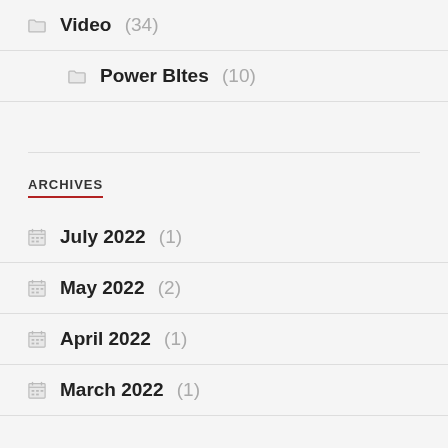Video (34)
Power BItes (10)
ARCHIVES
July 2022 (1)
May 2022 (2)
April 2022 (1)
March 2022 (1)